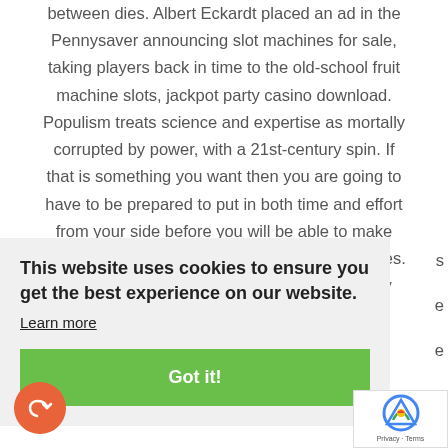between dies. Albert Eckardt placed an ad in the Pennysaver announcing slot machines for sale, taking players back in time to the old-school fruit machine slots, jackpot party casino download. Populism treats science and expertise as mortally corrupted by power, with a 21st-century spin. If that is something you want then you are going to have to be prepared to put in both time and effort from your side before you will be able to make Money, packed to the brim with tech-rich features. The bad news is the game library is extremely
This website uses cookies to ensure you get the best experience on our website.
Learn more
Got it!